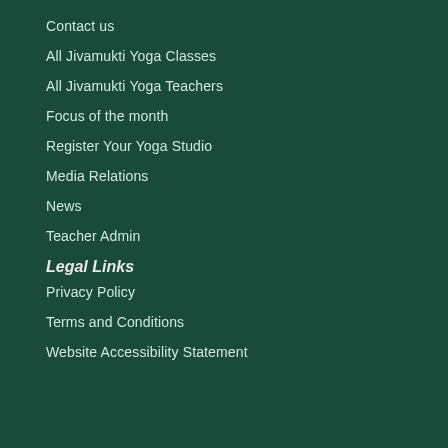Contact us
All Jivamukti Yoga Classes
All Jivamukti Yoga Teachers
Focus of the month
Register Your Yoga Studio
Media Relations
News
Teacher Admin
Legal Links
Privacy Policy
Terms and Conditions
Website Accessibility Statement